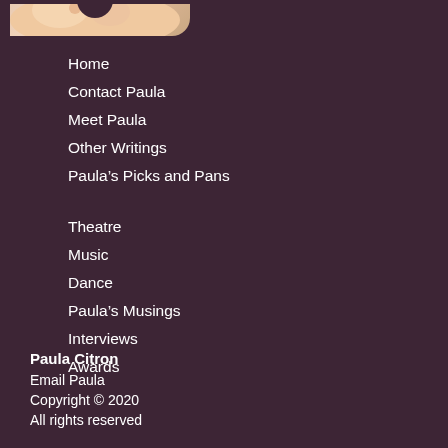[Figure (illustration): Partial illustration of a character visible at top of page]
Home
Contact Paula
Meet Paula
Other Writings
Paula's Picks and Pans
Theatre
Music
Dance
Paula's Musings
Interviews
Awards
Paula Citron
Email Paula
Copyright © 2020
All rights reserved